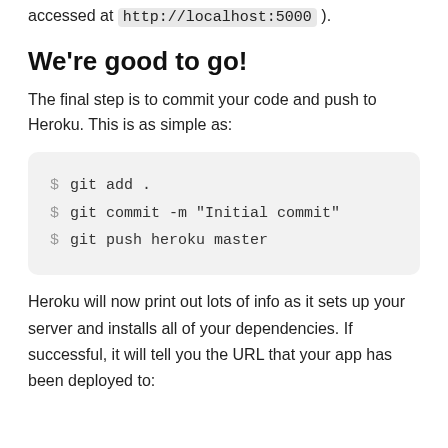accessed at http://localhost:5000 ).
We're good to go!
The final step is to commit your code and push to Heroku. This is as simple as:
$ git add .
$ git commit -m "Initial commit"
$ git push heroku master
Heroku will now print out lots of info as it sets up your server and installs all of your dependencies. If successful, it will tell you the URL that your app has been deployed to: